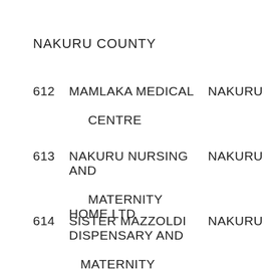NAKURU COUNTY
612 MAMLAKA MEDICAL CENTRE   NAKURU
613 NAKURU NURSING AND MATERNITY HOME LTD   NAKURU
614 SISTER MAZZOLDI DISPENSARY AND MATERNITY   NAKURU